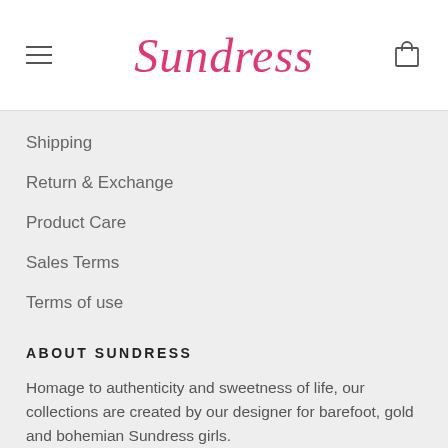Sundress
Shipping
Return & Exchange
Product Care
Sales Terms
Terms of use
ABOUT SUNDRESS
Homage to authenticity and sweetness of life, our collections are created by our designer for barefoot, gold and bohemian Sundress girls.
[Figure (other): Social media icons: Facebook, Instagram, Pinterest]